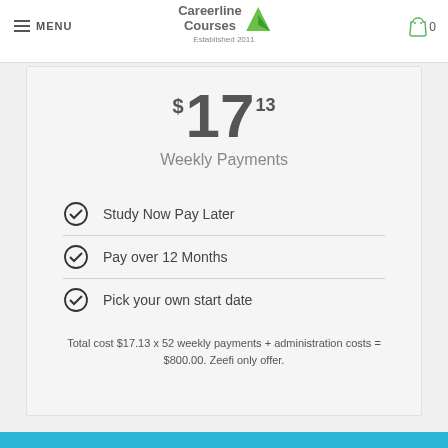MENU | Careerline Courses | Established 2011
$17.13 Weekly Payments
Study Now Pay Later
Pay over 12 Months
Pick your own start date
Total cost $17.13 x 52 weekly payments + administration costs = $800.00. Zeefi only offer.